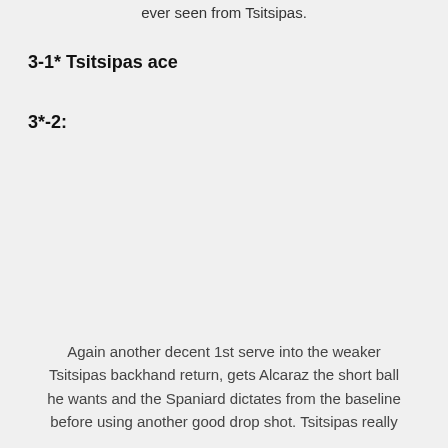ever seen from Tsitsipas.
3-1* Tsitsipas ace
3*-2:
Again another decent 1st serve into the weaker Tsitsipas backhand return, gets Alcaraz the short ball he wants and the Spaniard dictates from the baseline before using another good drop shot. Tsitsipas really